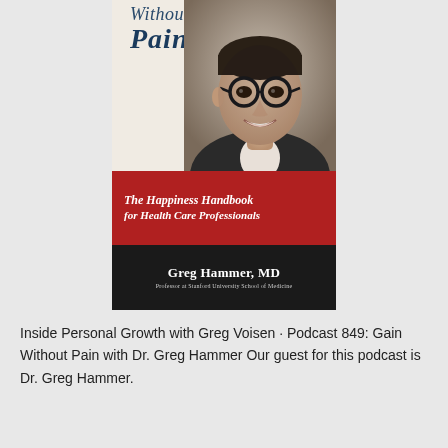[Figure (photo): Book cover for 'Gain Without Pain: The Happiness Handbook for Health Care Professionals' by Greg Hammer, MD. Shows a black and white photo of a smiling man in glasses, with the book title in dark blue italic text at the top, a red band with subtitle text, and a black band with the author's name and credentials.]
Inside Personal Growth with Greg Voisen · Podcast 849: Gain Without Pain with Dr. Greg Hammer Our guest for this podcast is Dr. Greg Hammer.